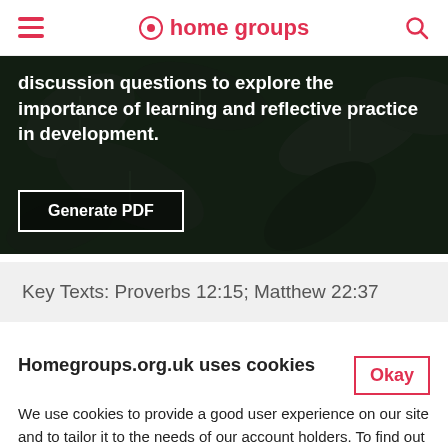home groups
[Figure (photo): Dark green tropical leaves background with white bold text overlay and Generate PDF button]
discussion questions to explore the importance of learning and reflective practice in development.
Generate PDF
Key Texts: Proverbs 12:15; Matthew 22:37
Homegroups.org.uk uses cookies
We use cookies to provide a good user experience on our site and to tailor it to the needs of our account holders. To find out more about cookies visit our full cookie policy